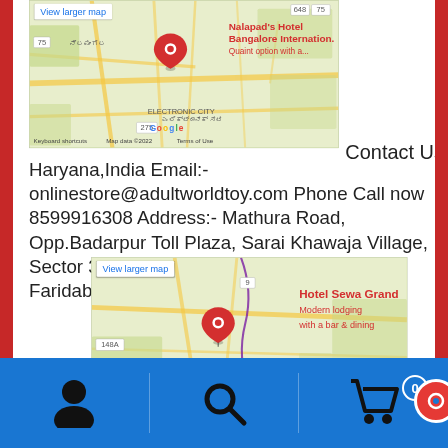[Figure (map): Google Map showing Bangalore area with a red pin labeled Nalapad's Hotel Bangalore International, Quaint option with a... View larger map button visible. Road numbers 75, 648, 275 visible. Electronic City label, Kannada text, Google logo, keyboard shortcuts, Map data ©2022, Terms of Use.]
Contact Us
Haryana,India Email:- onlinestore@adultworldtoy.com Phone Call now 8599916308 Address:- Mathura Road, Opp.Badarpur Toll Plaza, Sarai Khawaja Village, Sector 36, Sarai Khawaja Village, Sector 36, Faridabad, Haryana
[Figure (map): Google Map showing Faridabad area with a red pin labeled Hotel Sewa Grand, Modern lodging with a bar & dining. Road number 148A visible, number 9 visible. View larger map button, Google logo, Faridabad text partial.]